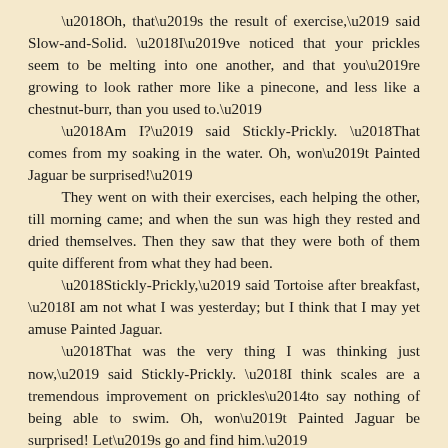'Oh, that's the result of exercise,' said Slow-and-Solid. 'I've noticed that your prickles seem to be melting into one another, and that you're growing to look rather more like a pinecone, and less like a chestnut-burr, than you used to.'
'Am I?' said Stickly-Prickly. 'That comes from my soaking in the water. Oh, won't Painted Jaguar be surprised!'
They went on with their exercises, each helping the other, till morning came; and when the sun was high they rested and dried themselves. Then they saw that they were both of them quite different from what they had been.
'Stickly-Prickly,' said Tortoise after breakfast, 'I am not what I was yesterday; but I think that I may yet amuse Painted Jaguar.
'That was the very thing I was thinking just now,' said Stickly-Prickly. 'I think scales are a tremendous improvement on prickles—to say nothing of being able to swim. Oh, won't Painted Jaguar be surprised! Let's go and find him.'
By and by they found Painted Jaguar, still nursing his paddy-paw that had been hurt the night before. He was so astonished that he fell three times backward over his own painted tail without stopping.
'Good morning!' said Stickly-Prickly. 'And how is your dear gracious Mummy this morning?'
'She is quite well, thank you,' said Painted Jaguar; 'but you